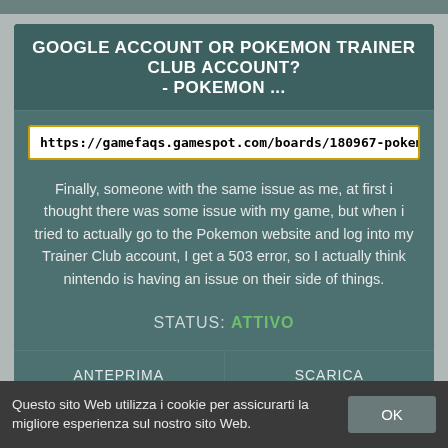GOOGLE ACCOUNT OR POKEMON TRAINER CLUB ACCOUNT? - POKEMON ...
https://gamefaqs.gamespot.com/boards/180967-pokemon-go/7398
Finally, someone with the same issue as me, at first i thought there was some issue with my game, but when i tried to actually go to the Pokemon website and log into my Trainer Club account, I get a 503 error, so I actually think nintendo is having an issue on their side of things.
STATUS: ATTIVO
ANTEPRIMA
SCARICA
Questo sito Web utilizza i cookie per assicurarti la migliore esperienza sul nostro sito Web.
OK